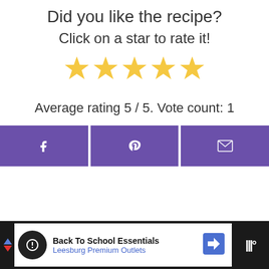Did you like the recipe?
Click on a star to rate it!
[Figure (other): Five yellow star rating icons, all filled/selected]
Average rating 5 / 5. Vote count: 1
[Figure (other): Three purple share buttons: Facebook (f), Pinterest (P), Email (envelope icon)]
[Figure (other): Advertisement banner: Back To School Essentials - Leesburg Premium Outlets, with navigation arrow icon and logo]